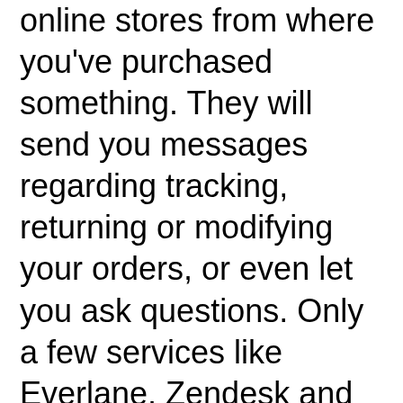online stores from where you've purchased something. They will send you messages regarding tracking, returning or modifying your orders, or even let you ask questions. Only a few services like Everlane, Zendesk and Zulily have signed up for it right now however.